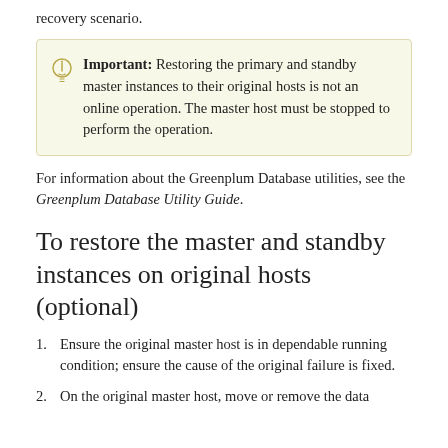recovery scenario.
Important: Restoring the primary and standby master instances to their original hosts is not an online operation. The master host must be stopped to perform the operation.
For information about the Greenplum Database utilities, see the Greenplum Database Utility Guide.
To restore the master and standby instances on original hosts (optional)
Ensure the original master host is in dependable running condition; ensure the cause of the original failure is fixed.
On the original master host, move or remove the data